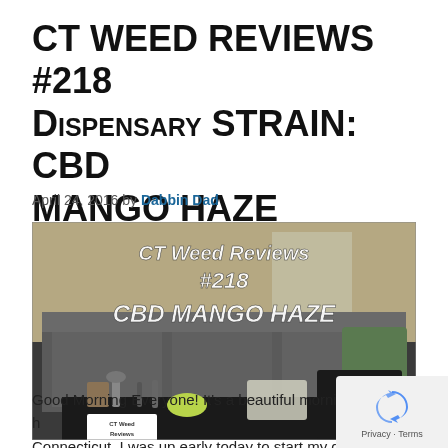CT WEED REVIEWS #218 Dispensary STRAIN: CBD MANGO HAZE
April 24, 2016 by Dabbin Dad
[Figure (photo): Video thumbnail showing a living room couch with smoking paraphernalia on a coffee table, with text overlay reading 'CT Weed Reviews #218 CBD Mango Haze' and a sign reading 'TODAY CBD Mango HAZE']
Good Morning Everyone!  It's a beautiful morning h... Connecticut.  I was up early today to start my day and I